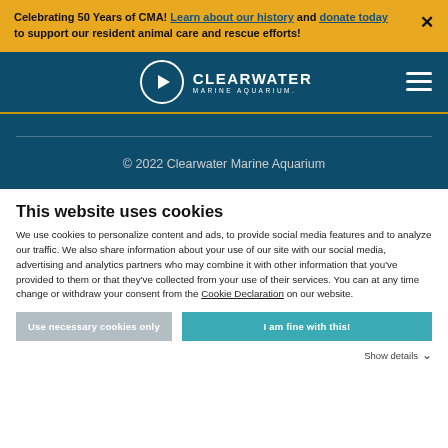Celebrating 50 Years of CMA! Learn about our history and donate today to support our resident animal care and rescue efforts!
[Figure (logo): Clearwater Marine Aquarium logo — circular icon with play-button style arrow, text CLEARWATER MARINE AQUARIUM.]
© 2022 Clearwater Marine Aquarium
This website uses cookies
We use cookies to personalize content and ads, to provide social media features and to analyze our traffic. We also share information about your use of our site with our social media, advertising and analytics partners who may combine it with other information that you've provided to them or that they've collected from your use of their services. You can at any time change or withdraw your consent from the Cookie Declaration on our website.
Use necessary cookies only
I am fine with this!
Show details